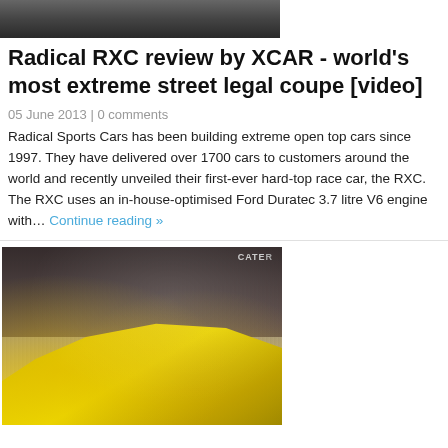[Figure (photo): Top partial image of a car or scene, dark/cropped at top]
Radical RXC review by XCAR - world's most extreme street legal coupe [video]
05 June 2013 | 0 comments
Radical Sports Cars has been building extreme open top cars since 1997. They have delivered over 1700 cars to customers around the world and recently unveiled their first-ever hard-top race car, the RXC. The RXC uses an in-house-optimised Ford Duratec 3.7 litre V6 engine with… Continue reading »
[Figure (photo): Photo of a yellow sports car (RXC) being unveiled at an event, with a crowd of people in the background and red floor visible. A man in white shirt is pulling a cover off the car. A partial sign reading CATER is visible at top right.]